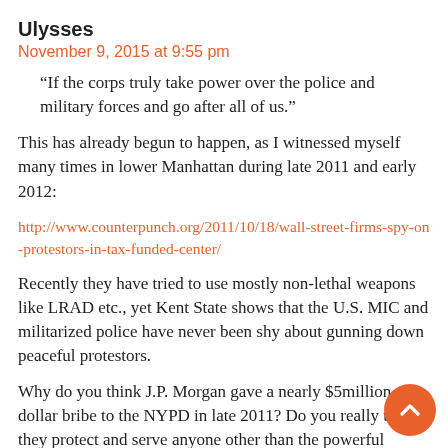Ulysses
November 9, 2015 at 9:55 pm
“If the corps truly take power over the police and military forces and go after all of us.”
This has already begun to happen, as I witnessed myself many times in lower Manhattan during late 2011 and early 2012:
http://www.counterpunch.org/2011/10/18/wall-street-firms-spy-on-protestors-in-tax-funded-center/
Recently they have tried to use mostly non-lethal weapons like LRAD etc., yet Kent State shows that the U.S. MIC and militarized police have never been shy about gunning down peaceful protestors.
Why do you think J.P. Morgan gave a nearly $5million dollar bribe to the NYPD in late 2011? Do you really think they protect and serve anyone other than the powerful kleptocrats?